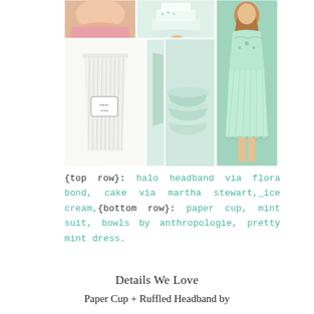[Figure (photo): Collage of mint/pastel themed items: top row shows a woman's neck with pink top, a mint cake, and right side a woman in a mint lace/pleated dress. Bottom row shows a white paper cup with stripes and label, a person in a mint blazer/suit, stacked mint bowls, and the dress continues on the right. Watermark 'The Perfect Palette' in bottom left.]
{top row}: halo headband via flora bond, cake via martha stewart,_ice cream,{bottom row}: paper cup, mint suit, bowls by anthropologie, pretty mint dress.
Details We Love
Paper Cup + Ruffled Headband by